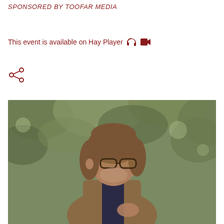SPONSORED BY TOOFAR MEDIA
This event is available on Hay Player
[Figure (other): Share icon (network/social share symbol) in dark red]
[Figure (photo): Middle-aged man with shoulder-length brown hair, glasses, brown jacket, dark shirt, standing outdoors among trees with soft green foliage in background, looking to his right, gesturing with hand]